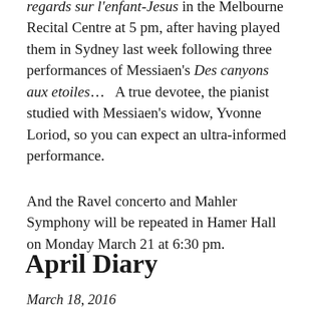regards sur l'enfant-Jesus in the Melbourne Recital Centre at 5 pm, after having played them in Sydney last week following three performances of Messiaen's Des canyons aux etoiles…  A true devotee, the pianist studied with Messiaen's widow, Yvonne Loriod, so you can expect an ultra-informed performance.
And the Ravel concerto and Mahler Symphony will be repeated in Hamer Hall on Monday March 21 at 6:30 pm.
April Diary
March 18, 2016